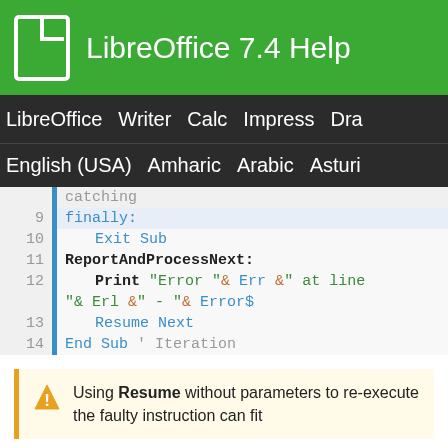LibreOffice 7.4 Help
LibreOffice Writer Calc Impress Dra…
English (USA) Amharic Arabic Asturi…
[Figure (screenshot): Code block showing lines 9-14 of a LibreOffice Basic macro with syntax highlighting. Line 9: finally:, Line 10: Exit Sub, Line 11: ReportAndProcessNext:, Line 12: Print "Error "& Err &" at line "& Erl &" - "& Error$, Line 13: Resume Next, Line 14: End Sub ' Iteration]
Using Resume without parameters to re-execute the faulty instruction can fit…